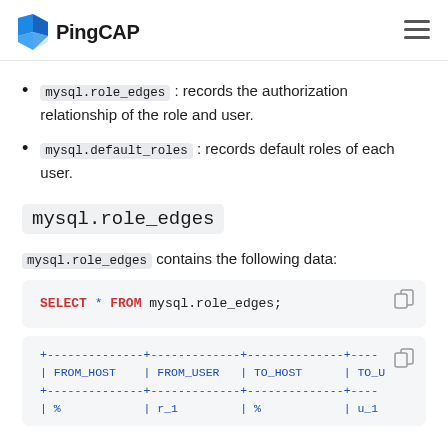PingCAP
mysql.role_edges : records the authorization relationship of the role and user.
mysql.default_roles : records default roles of each user.
mysql.role_edges
mysql.role_edges contains the following data:
[Figure (screenshot): Code block showing: SELECT * FROM mysql.role_edges;]
[Figure (screenshot): Terminal output showing table with columns FROM_HOST | FROM_USER | TO_HOST | TO_U and a data row starting with | % | r_1 | % | u_1]